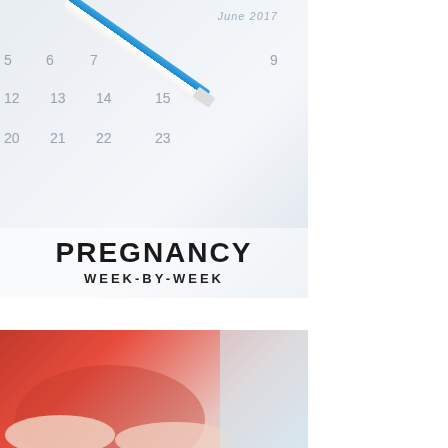[Figure (photo): A pregnancy test stick resting on a June 2017 calendar showing dates 5, 6, 7, 12, 13, 14, 15, 20, 21, 22, 23 with bold text overlay reading PREGNANCY WEEK-BY-WEEK]
[Figure (photo): A pregnant woman in a red dress holding her belly with both hands, light blue background on the right side]